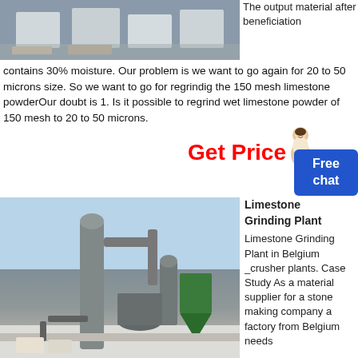[Figure (photo): Aerial/overhead view of industrial site with white cube-like structures and equipment]
The output material after beneficiation contains 30% moisture. Our problem is we want to go again for 20 to 50 microns size. So we want to go for regrindig the 150 mesh limestone powderOur doubt is 1. Is it possible to regrind wet limestone powder of 150 mesh to 20 to 50 microns.
Get Price
Free
chat
[Figure (photo): Industrial limestone grinding plant machinery outdoors in winter/snowy conditions]
Limestone Grinding Plant
Limestone Grinding Plant in Belgium _crusher plants. Case Study As a material supplier for a stone making company a factory from Belgium needs